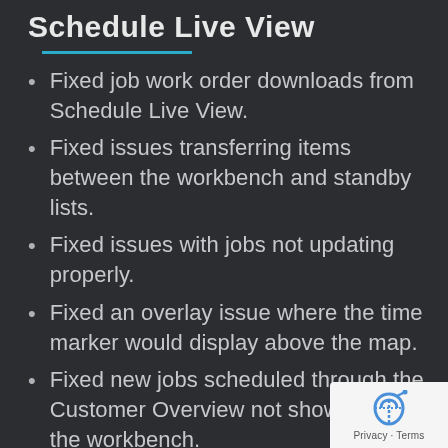Schedule Live View
Fixed job work order downloads from Schedule Live View.
Fixed issues transferring items between the workbench and standby lists.
Fixed issues with jobs not updating properly.
Fixed an overlay issue where the time marker would display above the map.
Fixed new jobs scheduled through the Customer Overview not showing up in the workbench.
Fixed an issue preventing jobs from being able to be dragged onto the last installer for